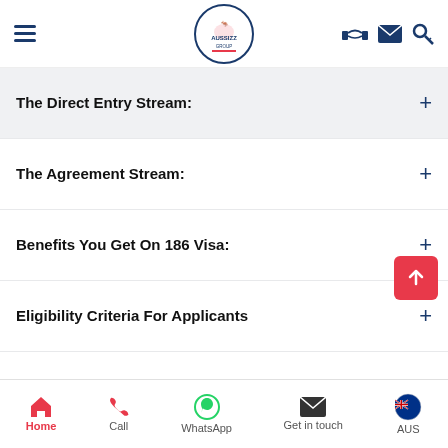AUSSIZZ GROUP navigation bar
The Direct Entry Stream:
The Agreement Stream:
Benefits You Get On 186 Visa:
Eligibility Criteria For Applicants
Eligibility Criteria For Nominating Employers
Health & Character Requirements
Eligible Family Members
Home | Call | WhatsApp | Get in touch | AUS